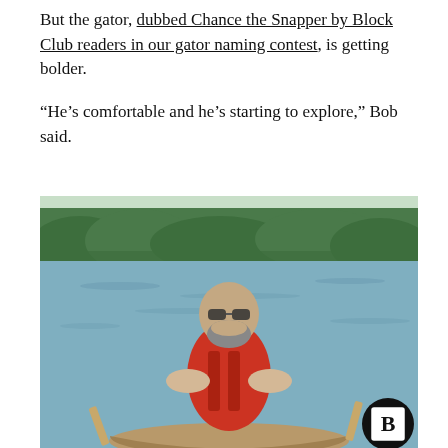But the gator, dubbed Chance the Snapper by Block Club readers in our gator naming contest, is getting bolder.
“He’s comfortable and he’s starting to explore,” Bob said.
[Figure (photo): A bald man with a beard wearing sunglasses and a red life vest sits in a canoe or kayak on a calm lake or river. Green trees and vegetation are visible along the far bank. A Block Club Chicago logo (letter B in a square, inside a black circle) appears in the bottom-right corner of the image.]